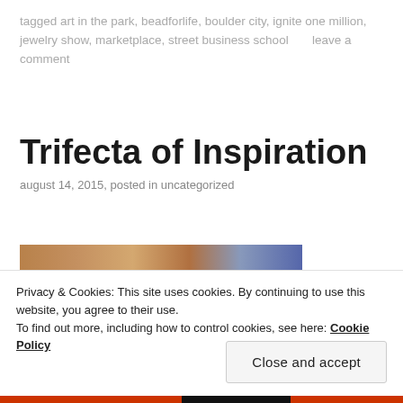tagged art in the park, beadforlife, boulder city, ignite one million, jewelry show, marketplace, street business school     leave a comment
Trifecta of Inspiration
august 14, 2015, posted in uncategorized
[Figure (photo): Partial photo strip showing people, partially visible at top of page]
Privacy & Cookies: This site uses cookies. By continuing to use this website, you agree to their use. To find out more, including how to control cookies, see here: Cookie Policy